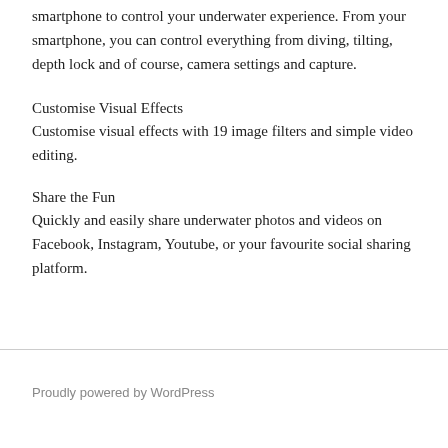smartphone to control your underwater experience. From your smartphone, you can control everything from diving, tilting, depth lock and of course, camera settings and capture.
Customise Visual Effects
Customise visual effects with 19 image filters and simple video editing.
Share the Fun
Quickly and easily share underwater photos and videos on Facebook, Instagram, Youtube, or your favourite social sharing platform.
Proudly powered by WordPress